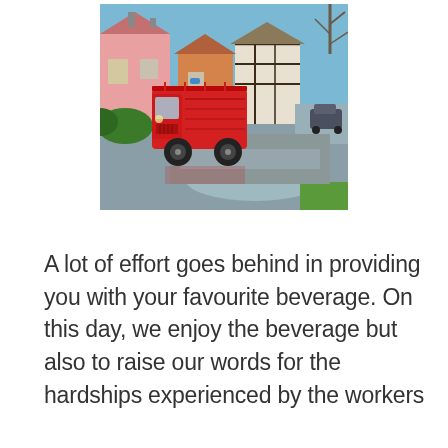[Figure (photo): A red vintage Citroën H van (food/beverage truck) parked on a wet village street. Behind it are colourful English cottages — pink, timber-framed black-and-white, and orange — under a bright blue sky with bare trees. A dark car is visible further down the road.]
A lot of effort goes behind in providing you with your favourite beverage. On this day, we enjoy the beverage but also to raise our words for the hardships experienced by the workers